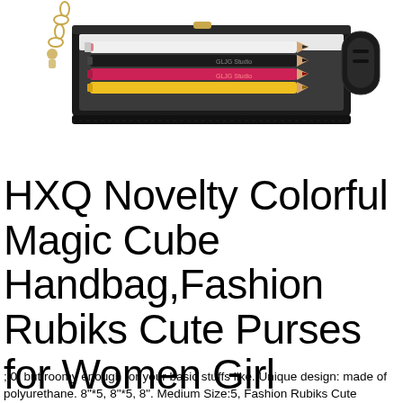[Figure (photo): Product photo of a novelty pencil-case style handbag in black, shown open with colored pencils (white, black, red/pink, yellow) inside, with gold chain strap on left and wrist strap on right. Watermark text 'GLJG Studio' visible on pencils.]
HXQ Novelty Colorful Magic Cube Handbag,Fashion Rubiks Cute Purses for Women Girl
; 0, but roomy enough for your basic stuffs like. Unique design: made of polyurethane. 8"*5, 8"*5, 8". Medium Size:5, Fashion Rubiks Cute